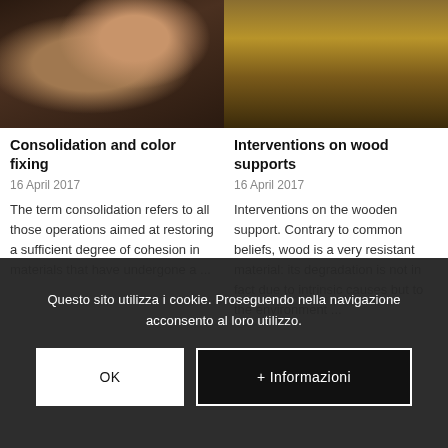[Figure (photo): Photo of hands using a tool on paper/fabric material on a dark workbench, with glue/paint containers visible]
Consolidation and color fixing
16 April 2017
The term consolidation refers to all those operations aimed at restoring a sufficient degree of cohesion in materials that have undergone a ...
[Figure (photo): Photo of wooden planks/boards laid out on a surface, with tools or materials placed on top]
Interventions on wood supports
16 April 2017
Interventions on the wooden support. Contrary to common beliefs, wood is a very resistant material: its degradation is not in fact due to intrinsic causes but to the environment ...
Questo sito utilizza i cookie. Proseguendo nella navigazione acconsento al loro utilizzo.
OK
+ Informazioni